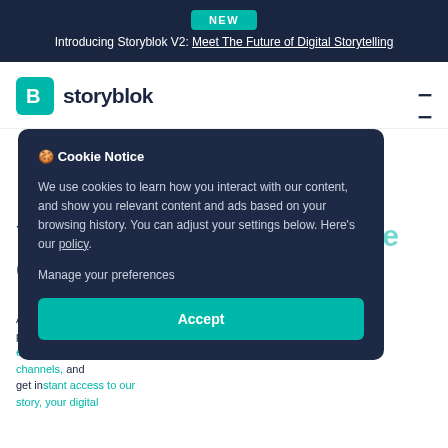NEW
Introducing Storyblok V2: Meet The Future of Digital Storytelling
[Figure (logo): Storyblok logo: teal speech bubble with letter B, followed by bold text 'storyblok']
🍪 Cookie Notice

We use cookies to learn how you interact with our content, and show you relevant content and ads based on your browsing history. You can adjust your settings below. Here's our policy.

Manage your preferences

Accept
Your Headless eCommerce CMS
Add Storyblok to your eCommerce platform for better experiences across all channels. And get instant access to our story, your digital…